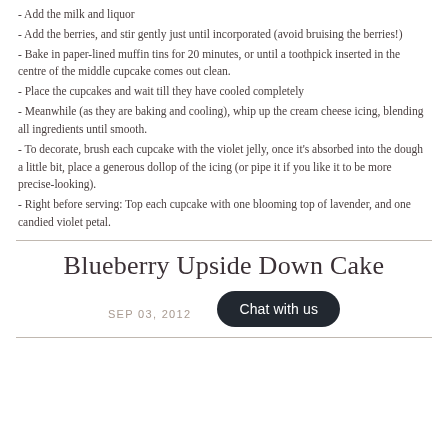- Add the milk and liquor
- Add the berries, and stir gently just until incorporated (avoid bruising the berries!)
- Bake in paper-lined muffin tins for 20 minutes, or until a toothpick inserted in the centre of the middle cupcake comes out clean.
- Place the cupcakes and wait till they have cooled completely
- Meanwhile (as they are baking and cooling), whip up the cream cheese icing, blending all ingredients until smooth.
- To decorate, brush each cupcake with the violet jelly, once it's absorbed into the dough a little bit, place a generous dollop of the icing (or pipe it if you like it to be more precise-looking).
- Right before serving: Top each cupcake with one blooming top of lavender, and one candied violet petal.
Blueberry Upside Down Cake
SEP 03, 2012